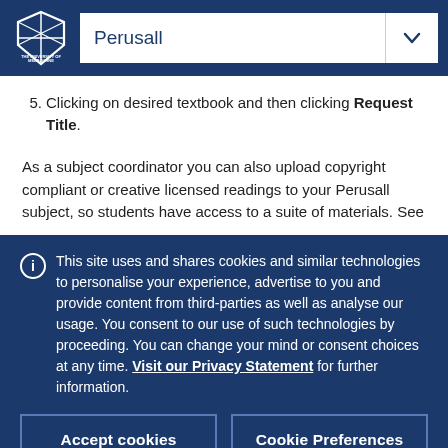Perusall
5. Clicking on desired textbook and then clicking Request Title.
As a subject coordinator you can also upload copyright compliant or creative licensed readings to your Perusall subject, so students have access to a suite of materials. See
This site uses and shares cookies and similar technologies to personalise your experience, advertise to you and provide content from third-parties as well as analyse our usage. You consent to our use of such technologies by proceeding. You can change your mind or consent choices at any time. Visit our Privacy Statement for further information.
Accept cookies
Cookie Preferences